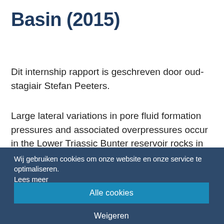Basin (2015)
Dit internship rapport is geschreven door oud-stagiair Stefan Peeters.
Large lateral variations in pore fluid formation pressures and associated overpressures occur in the Lower Triassic Bunter reservoir rocks in the
Wij gebruiken cookies om onze website en onze service te optimaliseren. Lees meer
Alle cookies
Weigeren